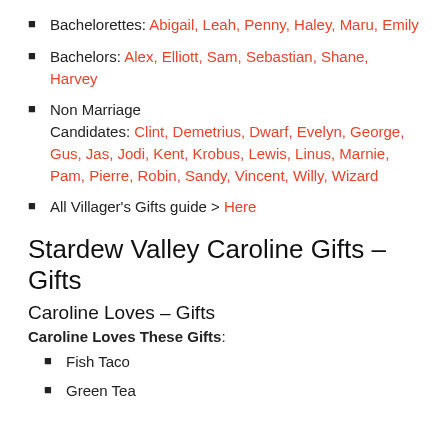Bachelorettes: Abigail, Leah, Penny, Haley, Maru, Emily
Bachelors: Alex, Elliott, Sam, Sebastian, Shane, Harvey
Non Marriage Candidates: Clint, Demetrius, Dwarf, Evelyn, George, Gus, Jas, Jodi, Kent, Krobus, Lewis, Linus, Marnie, Pam, Pierre, Robin, Sandy, Vincent, Willy, Wizard
All Villager's Gifts guide > Here
Stardew Valley Caroline Gifts – Gifts
Caroline Loves – Gifts
Caroline Loves These Gifts:
Fish Taco
Green Tea